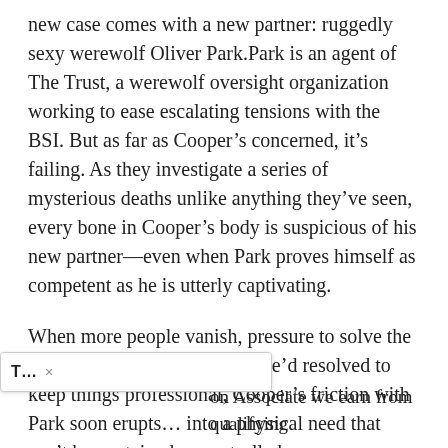new case comes with a new partner: ruggedly sexy werewolf Oliver Park.Park is an agent of The Trust, a werewolf oversight organization working to ease escalating tensions with the BSI. But as far as Cooper's concerned, it's failing. As they investigate a series of mysterious deaths unlike anything they've seen, every bone in Cooper's body is suspicious of his new partner—even when Park proves himself as competent as he is utterly captivating.
When more people vanish, pressure to solve the case skyrockets. And though he'd resolved to keep things professional, Cooper's friction with Park soon erupts… into a physical need that can't be contained or controlled.
T...
on Associate we earn from qualifying